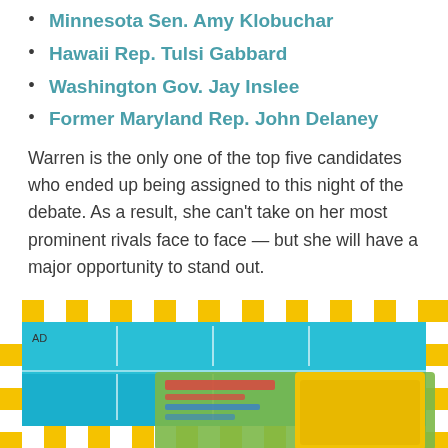Minnesota Sen. Amy Klobuchar
Hawaii Rep. Tulsi Gabbard
Washington Gov. Jay Inslee
Former Maryland Rep. John Delaney
Warren is the only one of the top five candidates who ended up being assigned to this night of the debate. As a result, she can't take on her most prominent rivals face to face — but she will have a major opportunity to stand out.
[Figure (photo): Advertisement banner showing a board game with colorful yellow and blue checkered border pattern, with 'AD' label in top left corner.]